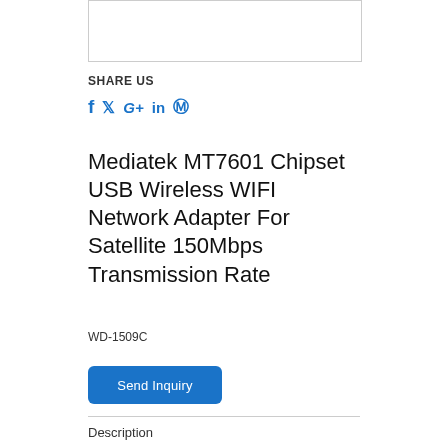[Figure (other): Product image placeholder box]
SHARE US
[Figure (other): Social share icons: Facebook (f), Twitter, Google+, LinkedIn (in), Pinterest]
Mediatek MT7601 Chipset USB Wireless WIFI Network Adapter For Satellite 150Mbps Transmission Rate
WD-1509C
[Figure (other): Send Inquiry button]
Description